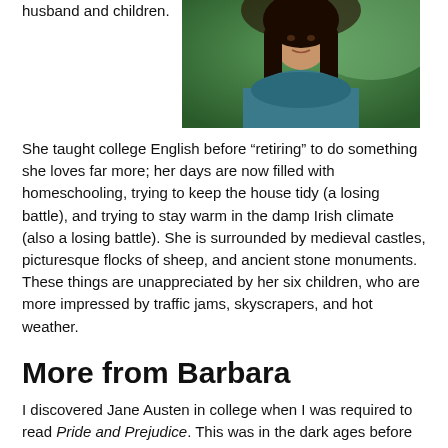husband and children.
[Figure (photo): Photo of Barbara, a woman with long dark hair wearing a teal/blue fuzzy sweater, photographed outdoors against a green grass background.]
She taught college English before “retiring” to do something she loves far more; her days are now filled with homeschooling, trying to keep the house tidy (a losing battle), and trying to stay warm in the damp Irish climate (also a losing battle). She is surrounded by medieval castles, picturesque flocks of sheep, and ancient stone monuments. These things are unappreciated by her six children, who are more impressed by traffic jams, skyscrapers, and hot weather.
More from Barbara
I discovered Jane Austen in college when I was required to read Pride and Prejudice. This was in the dark ages before the famous adaptations, and I knew nothing about the standing. In fact, I expected it to be depressing, probably